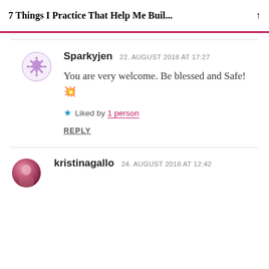7 Things I Practice That Help Me Buil...
Sparkyjen  22. AUGUST 2018 AT 17:27
You are very welcome. Be blessed and Safe! 💥
Liked by 1 person
REPLY
kristinagallo  24. AUGUST 2018 AT 12:42